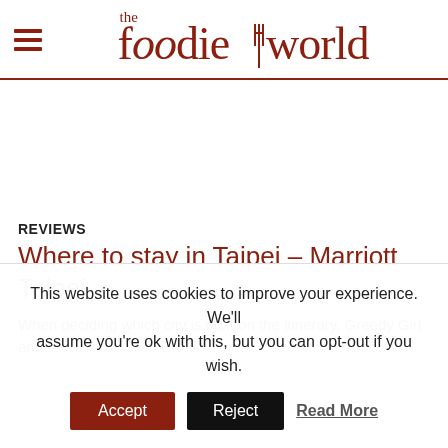the foodie world
REVIEWS
Where to stay in Taipei – Marriott Taipei
When deciding which city is next on the itinerary, Greedy Girl and
This website uses cookies to improve your experience. We'll assume you're ok with this, but you can opt-out if you wish. Accept Reject Read More